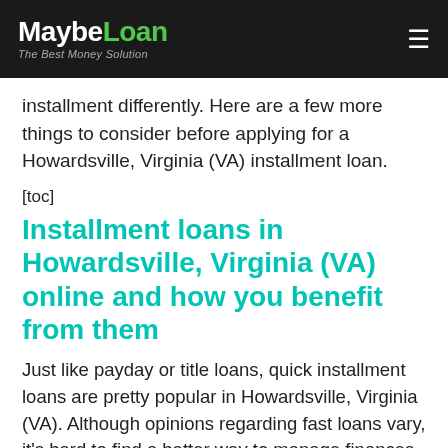MaybeLoan — The Best Money Solution
installment differently. Here are a few more things to consider before applying for a Howardsville, Virginia (VA) installment loan.
[toc]
Installment loans in Howardsville, Virginia (VA) online and how you benefit from them
Just like payday or title loans, quick installment loans are pretty popular in Howardsville, Virginia (VA). Although opinions regarding fast loans vary, it's hard to find a better way to manage finances. Unexpected purchases, car repairs, medical issues – quick, no